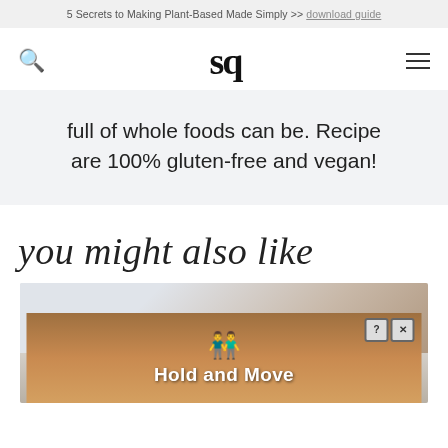5 Secrets to Making Plant-Based Made Simply >> download guide
[Figure (logo): sq logo with search icon on left and hamburger menu on right]
full of whole foods can be. Recipe are 100% gluten-free and vegan!
you might also like
[Figure (photo): Partially visible food photo with an advertisement overlay showing two blue figures and text 'Hold and Move']